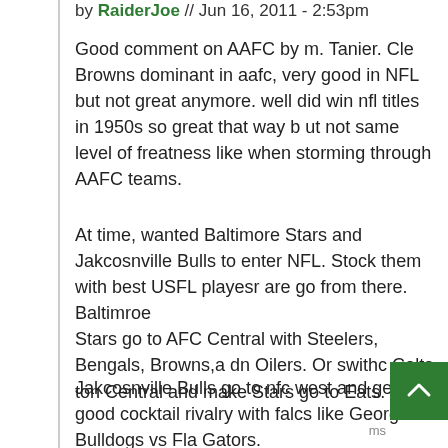by RaiderJoe // Jun 16, 2011 - 2:53pm
Good comment on AAFC by m. Tanier. Cle Browns dominant in aafc, very good in NFL but not great anymore. well did win nfl titles in 1950s so great that way b ut not same level of freatness like when storming through AAFC teams.
At time, wanted Baltimore Stars and Jakcosnville Bulls to enter NFL. Stock them with best USFL playesr are go from there. Baltimroe
Stars go to AFC Central with Steelers, Bengals, Browns,a dn Oilers. Or swithc Colts ton Central and make Stars go to Eats.
Jakcosnville Bulls go to nfc west and get good cocktail rivalry with falcs like Georgia Bulldogs vs Fla Gators.